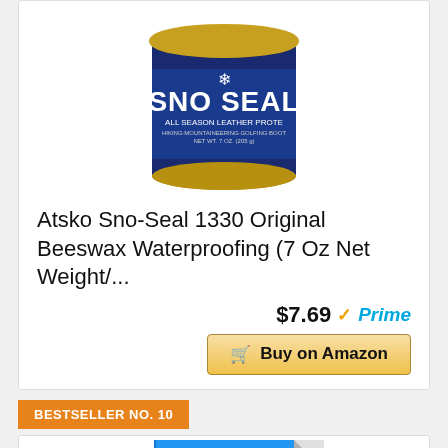[Figure (photo): Photo of Atsko Sno-Seal blue tin can with white text, showing a circular container of beeswax waterproofing product, 7 oz]
Atsko Sno-Seal 1330 Original Beeswax Waterproofing (7 Oz Net Weight/...
$7.69 ✓Prime
Buy on Amazon
BESTSELLER NO. 10
[Figure (photo): Blue and white rectangular product (partially visible), appears to be a sheet or tarp-like item]